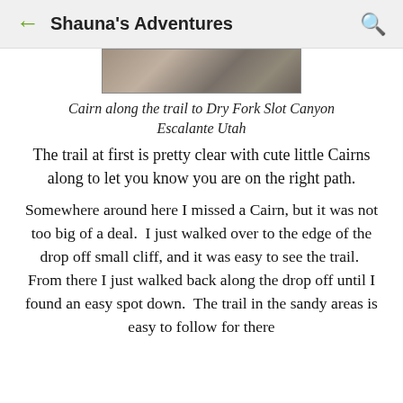Shauna's Adventures
[Figure (photo): Photo of a cairn along the trail, close-up of rocky terrain, top portion visible]
Cairn along the trail to Dry Fork Slot Canyon Escalante Utah
The trail at first is pretty clear with cute little Cairns along to let you know you are on the right path.
Somewhere around here I missed a Cairn, but it was not too big of a deal.  I just walked over to the edge of the drop off small cliff, and it was easy to see the trail.  From there I just walked back along the drop off until I found an easy spot down.  The trail in the sandy areas is easy to follow for there